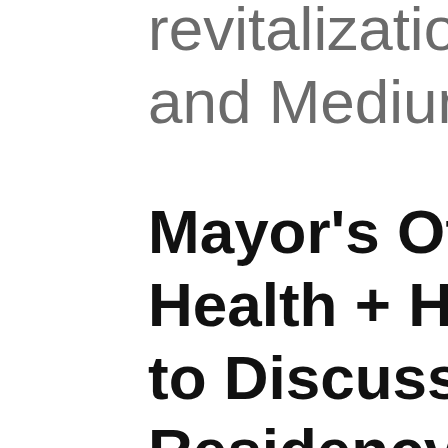revitalization of and Medium E
Mayor's Office Health + Hosp to Discuss Elim Residency Re D